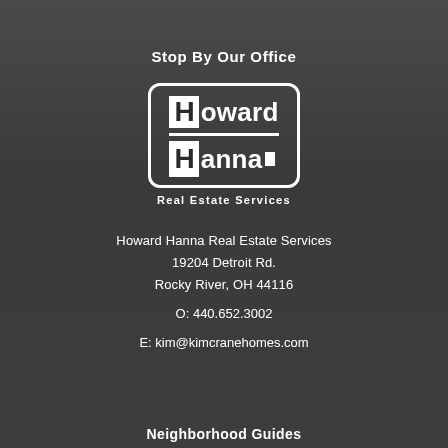Stop By Our Office
[Figure (logo): Howard Hanna Real Estate Services logo — white rounded rectangle border containing black block with white H and white text 'oward' on top row, divider line, black block with white H and white text 'anna' with small white square on bottom row. Below: 'Real Estate Services' text.]
Howard Hanna Real Estate Services
19204 Detroit Rd.
Rocky River, OH 44116
O: 440.652.3002
E: kim@kimcranehomes.com
Neighborhood Guides